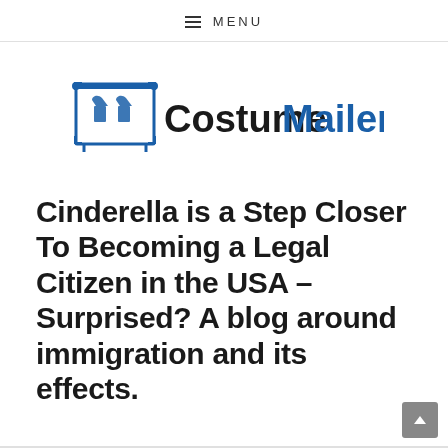≡ MENU
[Figure (logo): CostumeMailer logo with blue costume rack icon and text 'CostumeMailer' where 'Costume' is in dark/black and 'Mailer' is in blue]
Cinderella is a Step Closer To Becoming a Legal Citizen in the USA – Surprised? A blog around immigration and its effects.